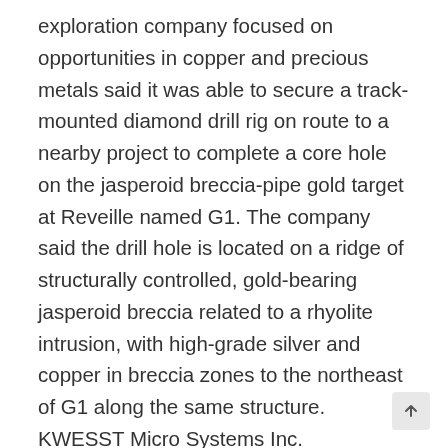exploration company focused on opportunities in copper and precious metals said it was able to secure a track-mounted diamond drill rig on route to a nearby project to complete a core hole on the jasperoid breccia-pipe gold target at Reveille named G1. The company said the drill hole is located on a ridge of structurally controlled, gold-bearing jasperoid breccia related to a rhyolite intrusion, with high-grade silver and copper in breccia zones to the northeast of G1 along the same structure. KWESST Micro Systems Inc. (CVE:KWE) (OTCQB:KWEMF) announced that it has appointed Rick Bowes to the new position of vice president, Operations to oversee and